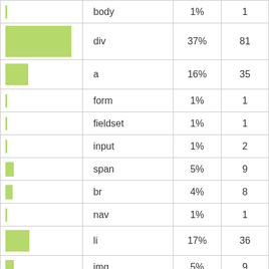|  | tag | % | count |
| --- | --- | --- | --- |
|  | body | 1% | 1 |
|  | div | 37% | 81 |
|  | a | 16% | 35 |
|  | form | 1% | 1 |
|  | fieldset | 1% | 1 |
|  | input | 1% | 2 |
|  | span | 5% | 9 |
|  | br | 4% | 8 |
|  | nav | 1% | 1 |
|  | li | 17% | 36 |
|  | img | 5% | 9 |
|  | ul | 1% | 2 |